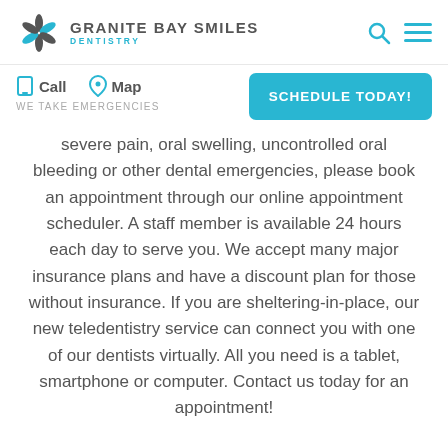GRANITE BAY SMILES DENTISTRY
Call  Map  WE TAKE EMERGENCIES  SCHEDULE TODAY!
severe pain, oral swelling, uncontrolled oral bleeding or other dental emergencies, please book an appointment through our online appointment scheduler. A staff member is available 24 hours each day to serve you. We accept many major insurance plans and have a discount plan for those without insurance. If you are sheltering-in-place, our new teledentistry service can connect you with one of our dentists virtually. All you need is a tablet, smartphone or computer. Contact us today for an appointment!